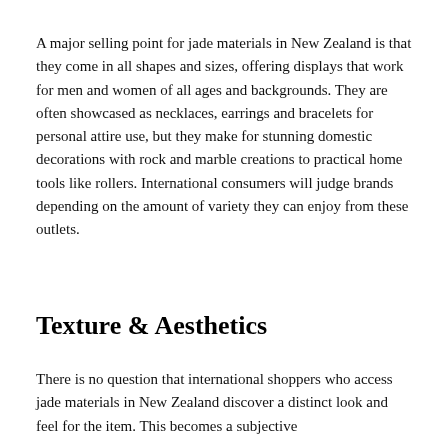A major selling point for jade materials in New Zealand is that they come in all shapes and sizes, offering displays that work for men and women of all ages and backgrounds. They are often showcased as necklaces, earrings and bracelets for personal attire use, but they make for stunning domestic decorations with rock and marble creations to practical home tools like rollers. International consumers will judge brands depending on the amount of variety they can enjoy from these outlets.
Texture & Aesthetics
There is no question that international shoppers who access jade materials in New Zealand discover a distinct look and feel for the item. This becomes a subjective